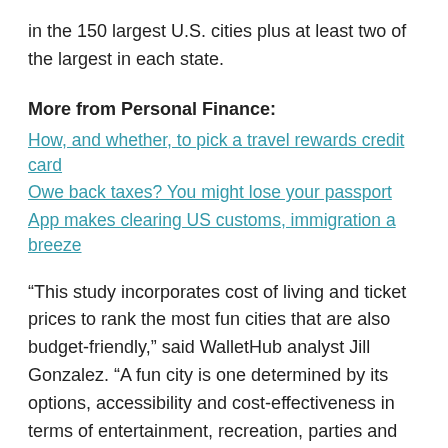in the 150 largest U.S. cities plus at least two of the largest in each state.
More from Personal Finance:
How, and whether, to pick a travel rewards credit card
Owe back taxes? You might lose your passport
App makes clearing US customs, immigration a breeze
“This study incorporates cost of living and ticket prices to rank the most fun cities that are also budget-friendly,” said WalletHub analyst Jill Gonzalez. “A fun city is one determined by its options, accessibility and cost-effectiveness in terms of entertainment, recreation, parties and nightlife.”
Some cities, like New York, are just so much fun that they ranked near the top of the list despite sky-high local